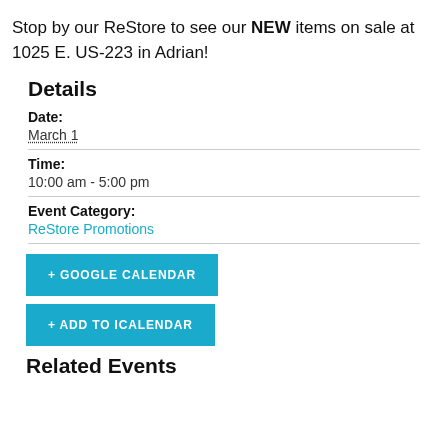Stop by our ReStore to see our NEW items on sale at 1025 E. US-223 in Adrian!
Details
Date:
March 1
Time:
10:00 am - 5:00 pm
Event Category:
ReStore Promotions
+ GOOGLE CALENDAR
+ ADD TO ICALENDAR
Related Events